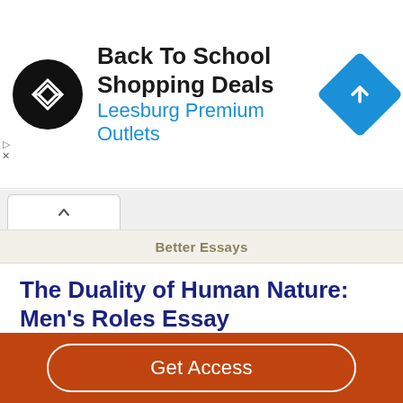[Figure (screenshot): Advertisement banner for Back To School Shopping Deals at Leesburg Premium Outlets with black circular logo and blue diamond icon]
Better Essays
The Duality of Human Nature: Men’s Roles Essay
1752 Words
8 Pages
2 Works Cited
should men hold in society? According to Victorian society, men should be respectful, successful and well known, which
Get Access